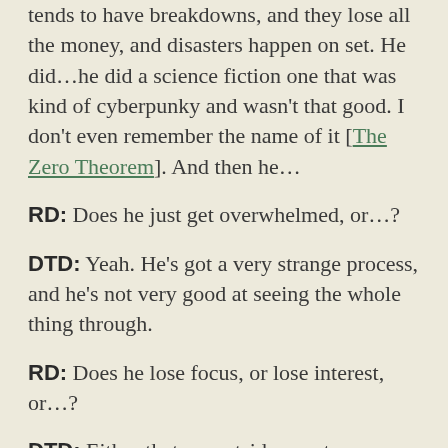tends to have breakdowns, and they lose all the money, and disasters happen on set. He did…he did a science fiction one that was kind of cyberpunky and wasn't that good. I don't even remember the name of it [The Zero Theorem]. And then he…
RD: Does he just get overwhelmed, or…?
DTD: Yeah. He's got a very strange process, and he's not very good at seeing the whole thing through.
RD: Does he lose focus, or lose interest, or…?
DTD: Either that, or outside events